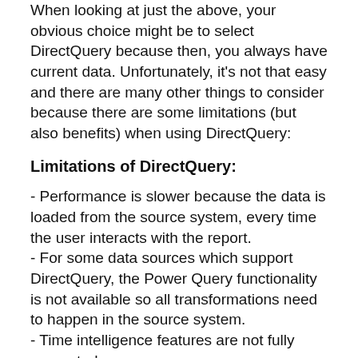When looking at just the above, your obvious choice might be to select DirectQuery because then, you always have current data. Unfortunately, it's not that easy and there are many other things to consider because there are some limitations (but also benefits) when using DirectQuery:
Limitations of DirectQuery:
- Performance is slower because the data is loaded from the source system, every time the user interacts with the report.
- For some data sources which support DirectQuery, the Power Query functionality is not available so all transformations need to happen in the source system.
- Time intelligence features are not fully supported
- Not all DAX functions are available
- The number of rows that can be aggregated is limited, depending on the data source and your Power BI...